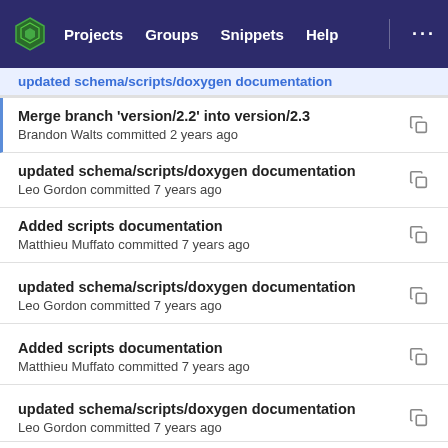Projects  Groups  Snippets  Help  ...
Merge branch 'version/2.2' into version/2.3
Brandon Walts committed 2 years ago
updated schema/scripts/doxygen documentation
Leo Gordon committed 7 years ago
Added scripts documentation
Matthieu Muffato committed 7 years ago
updated schema/scripts/doxygen documentation
Leo Gordon committed 7 years ago
Added scripts documentation
Matthieu Muffato committed 7 years ago
updated schema/scripts/doxygen documentation
Leo Gordon committed 7 years ago